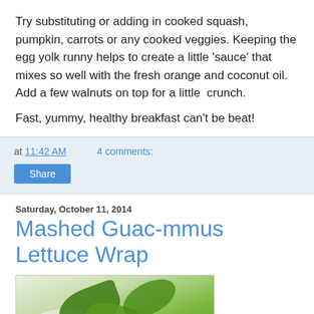Try substituting or adding in cooked squash, pumpkin, carrots or any cooked veggies. Keeping the egg yolk runny helps to create a little 'sauce' that mixes so well with the fresh orange and coconut oil. Add a few walnuts on top for a little  crunch.
Fast, yummy, healthy breakfast can't be beat!
at 11:42 AM    4 comments:
Share
Saturday, October 11, 2014
Mashed Guac-mmus Lettuce Wrap
[Figure (photo): Close-up photo of a lettuce wrap with green leafy vegetables on a white plate]